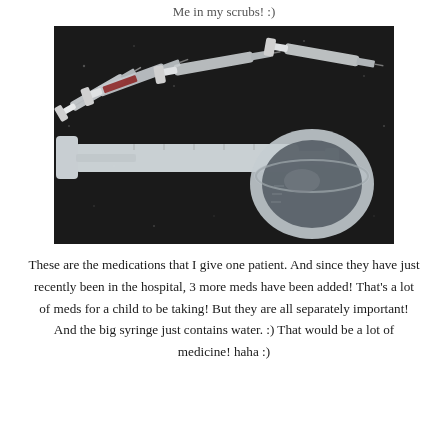Me in my scrubs! :)
[Figure (photo): A photo of multiple medical syringes of various sizes arranged on a dark surface, including a large clear syringe and a small medicine cup.]
These are the medications that I give one patient. And since they have just recently been in the hospital, 3 more meds have been added! That's a lot of meds for a child to be taking! But they are all separately important! And the big syringe just contains water. :) That would be a lot of medicine! haha :)